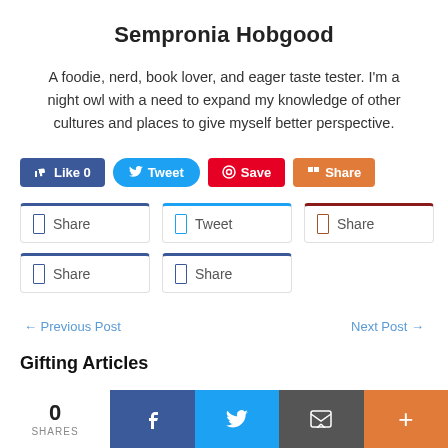Sempronia Hobgood
A foodie, nerd, book lover, and eager taste tester. I'm a night owl with a need to expand my knowledge of other cultures and places to give myself better perspective.
[Figure (screenshot): Social share buttons row: Like 0 (Facebook blue), Tweet (Twitter blue rounded), Save (Pinterest red), Share (orange)]
[Figure (screenshot): Second row of share/tweet/share outline buttons with colored top borders: Facebook Share, Twitter Tweet, Pinterest Share, LinkedIn Share, LinkedIn Share]
← Previous Post
Next Post →
Gifting Articles
[Figure (screenshot): Bottom share bar: 0 SHARES, Facebook button, Twitter button, Email button, More button]